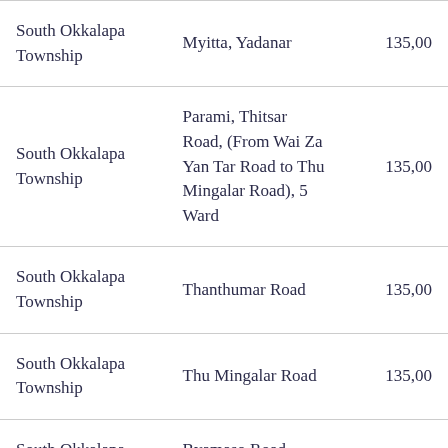| South Okkalapa Township | Myitta, Yadanar | 135,00 |
| South Okkalapa Township | Parami, Thitsar Road, (From Wai Za Yan Tar Road to Thu Mingalar Road), 5 Ward | 135,00 |
| South Okkalapa Township | Thanthumar Road | 135,00 |
| South Okkalapa Township | Thu Mingalar Road | 135,00 |
| South Okkalapa Township | Byamaso Road, Mingalar | 100,0 |